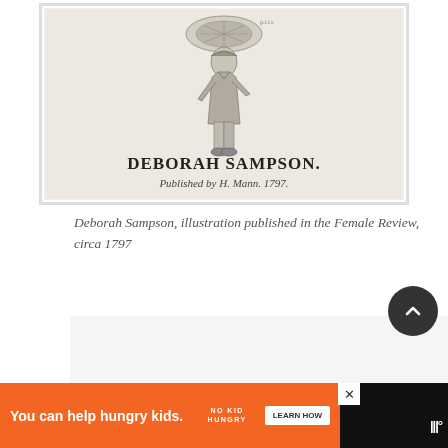[Figure (illustration): Historical engraving of Deborah Sampson, showing a figure in period military dress. Text reads 'DEBORAH SAMPSON.' and below 'Published by H. Mann. 1797.' Published as illustration in the Female Review circa 1797.]
Deborah Sampson, illustration published in the Female Review, circa 1797
[Figure (other): Gray content placeholder block with three dots indicating loading or carousel navigation]